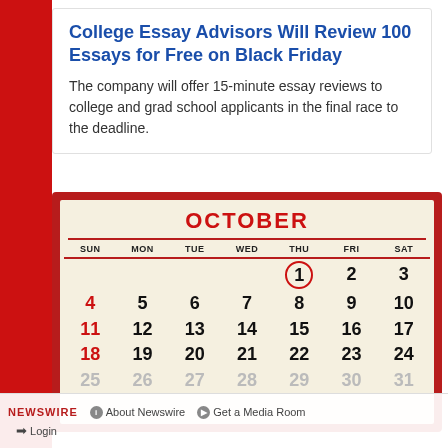College Essay Advisors Will Review 100 Essays for Free on Black Friday
The company will offer 15-minute essay reviews to college and grad school applicants in the final race to the deadline.
[Figure (illustration): October calendar image with the 1st circled in red, showing a classic wall calendar with days SUN through SAT, and rows for weeks 1-31. Sundays (4, 11, 18, 25) highlighted in red.]
NEWSWIRE  About Newswire  Get a Media Room  Login